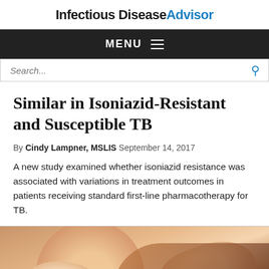Infectious Disease Advisor
MENU ≡
Search...
Similar in Isoniazid-Resistant and Susceptible TB
By Cindy Lampner, MSLIS September 14, 2017
A new study examined whether isoniazid resistance was associated with variations in treatment outcomes in patients receiving standard first-line pharmacotherapy for TB.
[Figure (photo): Close-up photo of an adult hand holding a baby's small hand, warm tones, soft focus background]